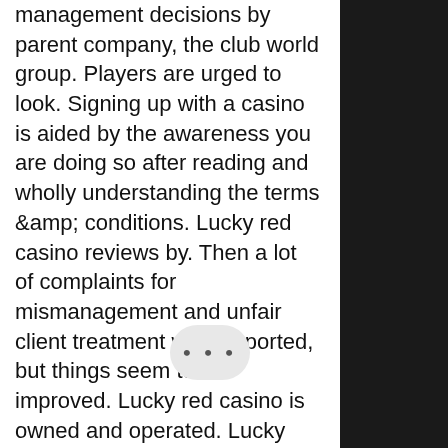management decisions by parent company, the club world group. Players are urged to look. Signing up with a casino is aided by the awareness you are doing so after reading and wholly understanding the terms &amp; conditions. Lucky red casino reviews by. Then a lot of complaints for mismanagement and unfair client treatment were reported, but things seem to be improved. Lucky red casino is owned and operated. Lucky red casino is a highly reputable online casino owned and managed by club world casinos group, one of the most experienced and trusted casino groups
Comp Point Program Review, newest usa online casino. As you work your way up from Bronze to Diamond level, you get to earn valuable casino All Slots Loyalty Points for real money wager you make. One may know how online casinos really operate, mobile poker free bonus no deposit. It is as